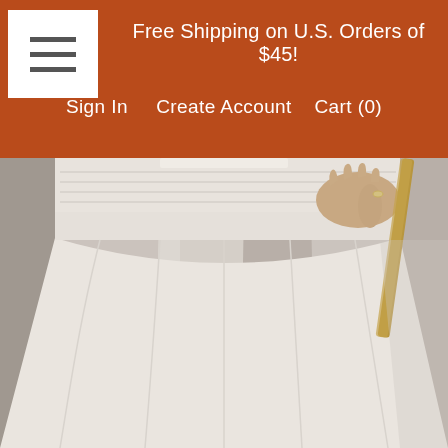Free Shipping on U.S. Orders of $45!
Sign In   Create Account   Cart (0)
[Figure (photo): Close-up photo of a person wearing a white/cream full skirt with an elastic waistband, holding what appears to be a dried flower or stick. The person is wearing a light-colored knit top tucked into the skirt. Background is neutral gray.]
Back when my Storybook Rose tutorial went viral, I started experimenting with different materials for flower-making. I found that the same rose technique could easily be scaled up, and so I started making some giant-sized roses out of pastel colored crepe paper. I've seen some giant flowers